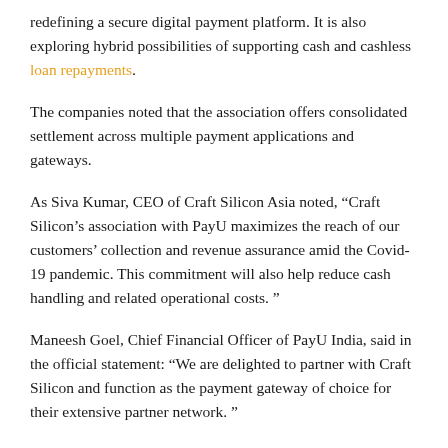redefining a secure digital payment platform. It is also exploring hybrid possibilities of supporting cash and cashless loan repayments.
The companies noted that the association offers consolidated settlement across multiple payment applications and gateways.
As Siva Kumar, CEO of Craft Silicon Asia noted, “Craft Silicon’s association with PayU maximizes the reach of our customers’ collection and revenue assurance amid the Covid-19 pandemic. This commitment will also help reduce cash handling and related operational costs. ”
Maneesh Goel, Chief Financial Officer of PayU India, said in the official statement: “We are delighted to partner with Craft Silicon and function as the payment gateway of choice for their extensive partner network. ”
He added: “One of the reasons the sector of small microcredit institutions is currently under strain is that these institutions generally lend to rural and semi-urban clients and debt collection is